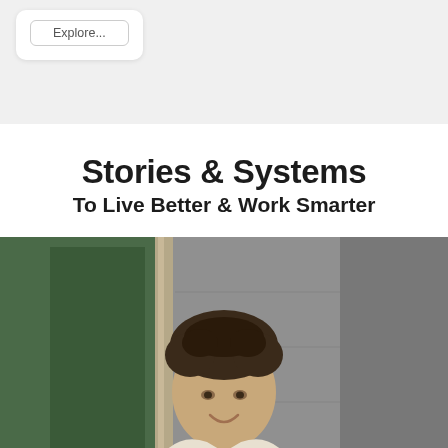Explore...
Stories & Systems
To Live Better & Work Smarter
[Figure (photo): Portrait photo of a young man with curly dark hair, smiling, standing in front of a green door and grey marble/stone wall background]